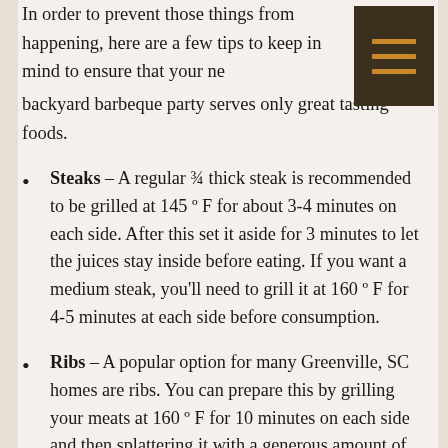In order to prevent those things from happening, here are a few tips to keep in mind to ensure that your next backyard barbeque party serves only great tasting foods.
Steaks – A regular ¾ thick steak is recommended to be grilled at 145 º F for about 3-4 minutes on each side. After this set it aside for 3 minutes to let the juices stay inside before eating. If you want a medium steak, you'll need to grill it at 160 º F for 4-5 minutes at each side before consumption.
Ribs – A popular option for many Greenville, SC homes are ribs. You can prepare this by grilling your meats at 160 º F for 10 minutes on each side and then splattering it with a generous amount of BBQ sauce.
Pork Chops – An inch thick pork chop must be grilled at 145 º F for 5-7 minutes on each side and then set to rest for about three minutes before...